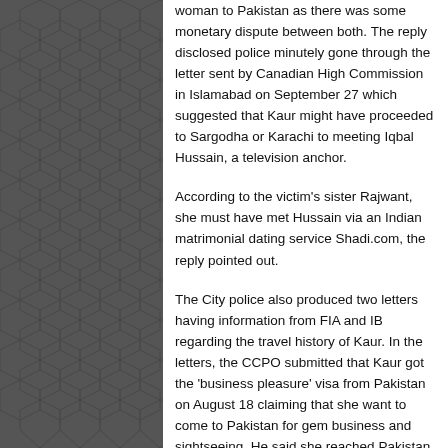woman to Pakistan as there was some monetary dispute between both. The reply disclosed police minutely gone through the letter sent by Canadian High Commission in Islamabad on September 27 which suggested that Kaur might have proceeded to Sargodha or Karachi to meeting Iqbal Hussain, a television anchor.
According to the victim's sister Rajwant, she must have met Hussain via an Indian matrimonial dating service Shadi.com, the reply pointed out.
The City police also produced two letters having information from FIA and IB regarding the travel history of Kaur. In the letters, the CCPO submitted that Kaur got the 'business pleasure' visa from Pakistan on August 18 claiming that she want to come to Pakistan for gem business and sightseeing. He said she reached Pakistan on August 23 via Dubai by Emirates Airlines. The police gave